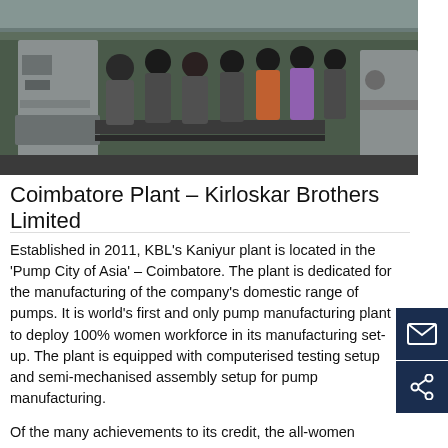[Figure (photo): Factory photo showing a row of women workers in grey uniforms working at an assembly line in the Coimbatore plant of Kirloskar Brothers Limited.]
Coimbatore Plant – Kirloskar Brothers Limited
Established in 2011, KBL's Kaniyur plant is located in the 'Pump City of Asia' – Coimbatore. The plant is dedicated for the manufacturing of the company's domestic range of pumps. It is world's first and only pump manufacturing plant to deploy 100% women workforce in its manufacturing set-up. The plant is equipped with computerised testing setup and semi-mechanised assembly setup for pump manufacturing.
Of the many achievements to its credit, the all-women